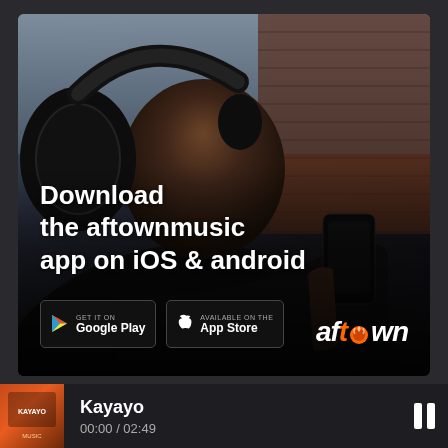[Figure (photo): Young man wearing black over-ear headphones, holding a smartphone, looking at it. Background has brick wall elements. Overlay text promoting app download.]
Download the aftownmusic app on iOS & android
[Figure (logo): Google Play badge]
[Figure (logo): App Store badge]
[Figure (logo): aftown logo in orange and white italic text]
Kayayo
00:00 / 02:49